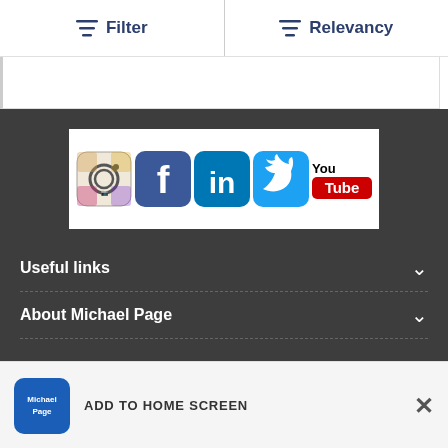Filter
Relevancy
[Figure (screenshot): White card area partially visible]
[Figure (logo): Social media icons: Instagram, Facebook, LinkedIn, Twitter, YouTube]
Useful links
About Michael Page
ADD TO HOME SCREEN